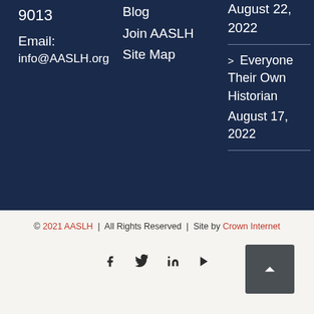9013
Email: info@AASLH.org
Blog
Join AASLH
Site Map
August 22, 2022
> Everyone Their Own Historian August 17, 2022
© 2021 AASLH | All Rights Reserved | Site by Crown Internet